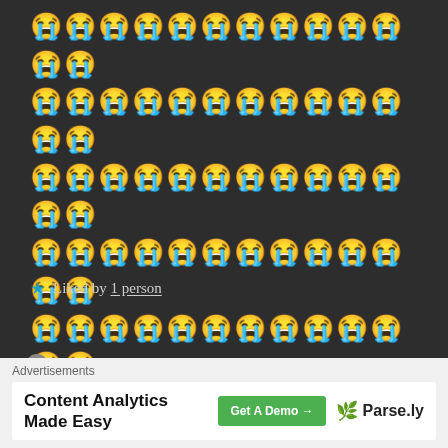[Figure (other): Large block of crying face emojis arranged in rows]
★ Liked by 1 person
THE BOLD GIRL says:
Jun 11, 2020 at 12:05 AM
I know you're seriously saying thought I can never rest!
Advertisements
Content Analytics Made Easy   Get A Demo →   🌿 Parse.ly